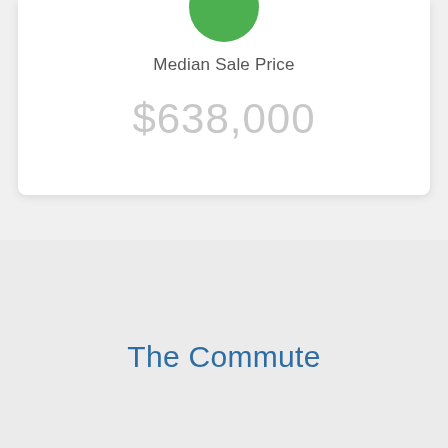Median Sale Price
$638,000
The Commute